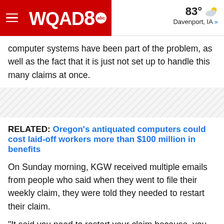WQAD8 abc  83° Davenport, IA »
computer systems have been part of the problem, as well as the fact that it is just not set up to handle this many claims at once.
RELATED: Oregon's antiquated computers could cost laid-off workers more than $100 million in benefits
On Sunday morning, KGW received multiple emails from people who said when they went to file their weekly claim, they were told they needed to restart their claim.
"It said you need to restart your claim because, you know, all these, you worked 40 hours, you've done something, and I knew I hadn't," said Salon Thirteen owner Julie Jenkerson.